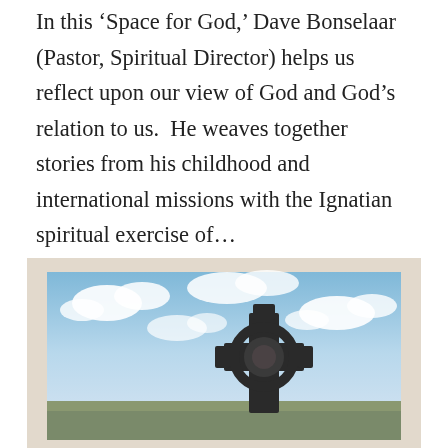In this 'Space for God,' Dave Bonselaar (Pastor, Spiritual Director) helps us reflect upon our view of God and God's relation to us.  He weaves together stories from his childhood and international missions with the Ignatian spiritual exercise of...
[Figure (photo): A stone Celtic cross silhouetted against a partly cloudy blue sky, with a flat landscape visible at the horizon.]